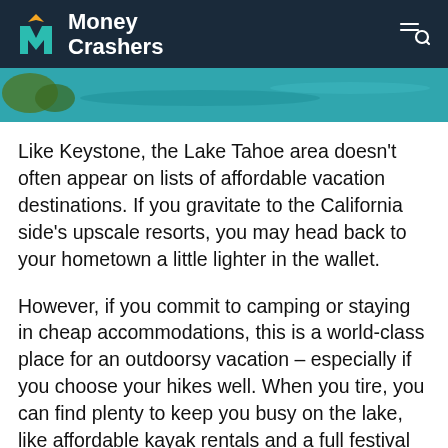Money Crashers
[Figure (photo): Partial view of a lake scene with teal/blue water and some greenery, cropped strip at top of content area]
Like Keystone, the Lake Tahoe area doesn’t often appear on lists of affordable vacation destinations. If you gravitate to the California side’s upscale resorts, you may head back to your hometown a little lighter in the wallet.
However, if you commit to camping or staying in cheap accommodations, this is a world-class place for an outdoorsy vacation – especially if you choose your hikes well. When you tire, you can find plenty to keep you busy on the lake, like affordable kayak rentals and a full festival schedule.